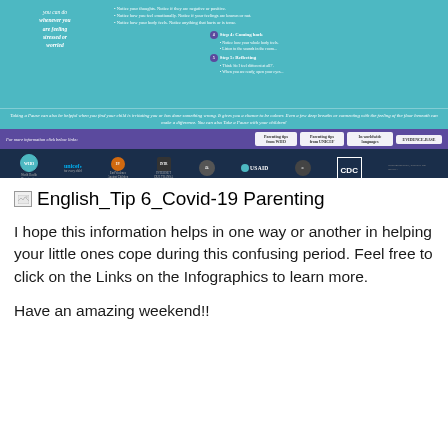[Figure (infographic): Parenting infographic showing steps for mindfulness and taking a pause, with logos of WHO, UNICEF, End Violence Against Children, USAID, CDC and other organizations at the bottom, and links bar in purple with parenting tip links.]
English_Tip 6_Covid-19 Parenting
I hope this information helps in one way or another in helping your little ones cope during this confusing period. Feel free to click on the Links on the Infographics to learn more.
Have an amazing weekend!!